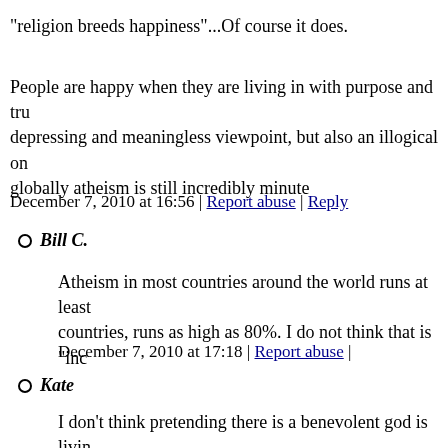"religion breeds happiness"...Of course it does.
People are happy when they are living in with purpose and tru... depressing and meaningless viewpoint, but also an illogical on... globally atheism is still incredibly minute
December 7, 2010 at 16:56 | Report abuse | Reply
Bill C.
Atheism in most countries around the world runs at least... countries, runs as high as 80%. I do not think that is "inc...
December 7, 2010 at 17:18 | Report abuse |
Kate
I don't think pretending there is a benevolent god is livin... is illogical in not believing in something there has never...
December 7, 2010 at 17:20 | Report abuse |
keith
@Bill...I'm not exactly sure where you are getting your s... CIA factbook or any other reputable source you can see... comprise 10% of the worlds population and actually on a... scale of the west), Christianity is growing at a faster rate...